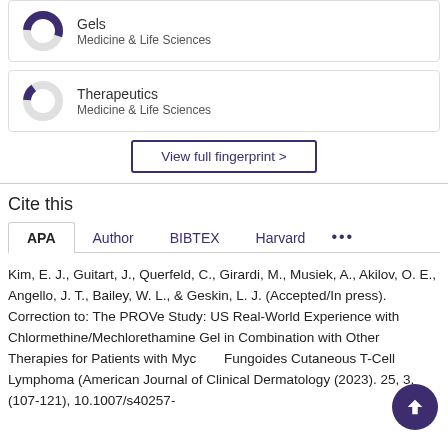[Figure (donut-chart): Donut chart for Gels, Medicine & Life Sciences, partially filled purple]
Gels
Medicine & Life Sciences
[Figure (donut-chart): Donut chart for Therapeutics, Medicine & Life Sciences, small purple slice]
Therapeutics
Medicine & Life Sciences
View full fingerprint >
Cite this
APA  Author  BIBTEX  Harvard  ...
Kim, E. J., Guitart, J., Querfeld, C., Girardi, M., Musiek, A., Akilov, O. E., Angello, J. T., Bailey, W. L., & Geskin, L. J. (Accepted/In press). Correction to: The PROVe Study: US Real-World Experience with Chlormethine/Mechlorethamine Gel in Combination with Other Therapies for Patients with Mycosis Fungoides Cutaneous T-Cell Lymphoma (American Journal of Clinical Dermatology (2023). 25, 3, (107-121), 10.1007/s40257-